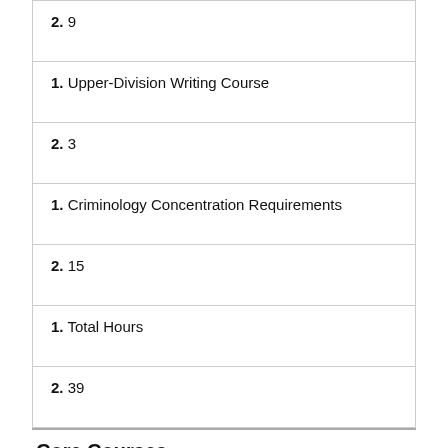2. 9
1. Upper-Division Writing Course
2. 3
1. Criminology Concentration Requirements
2. 15
1. Total Hours
2. 39
Core Courses